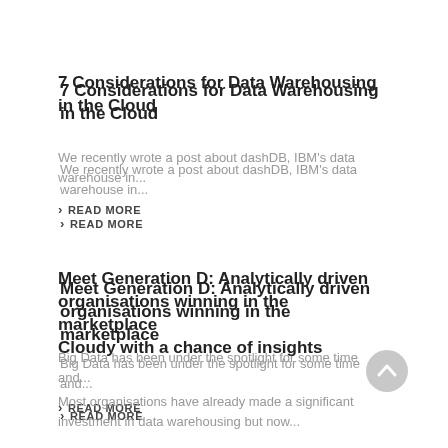7 Considerations for Data Warehousing in the Cloud
We recently wrote a post about dashDB, IBM's data warehouse in...
READ MORE
Meet Generation D: Analytically driven organisations winning in the marketplace
Big Data has been under the spotlight for some time and...
READ MORE
Cloudy with a chance of insights
Most organisations have already made a significant investment in data warehousing but now...